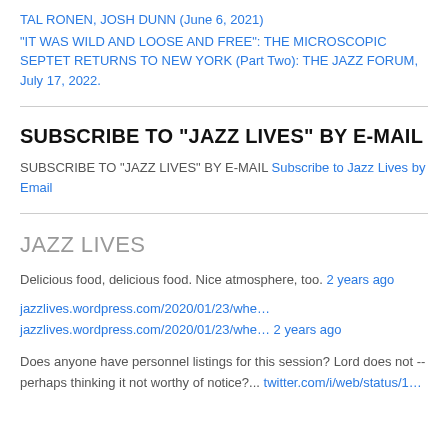TAL RONEN, JOSH DUNN (June 6, 2021)
“IT WAS WILD AND LOOSE AND FREE”: THE MICROSCOPIC SEPTET RETURNS TO NEW YORK (Part Two): THE JAZZ FORUM, July 17, 2022.
SUBSCRIBE TO “JAZZ LIVES” BY E-MAIL
SUBSCRIBE TO "JAZZ LIVES" BY E-MAIL Subscribe to Jazz Lives by Email
JAZZ LIVES
Delicious food, delicious food. Nice atmosphere, too. 2 years ago
jazzlives.wordpress.com/2020/01/23/whe…
jazzlives.wordpress.com/2020/01/23/whe… 2 years ago
Does anyone have personnel listings for this session? Lord does not -- perhaps thinking it not worthy of notice?... twitter.com/i/web/status/1…